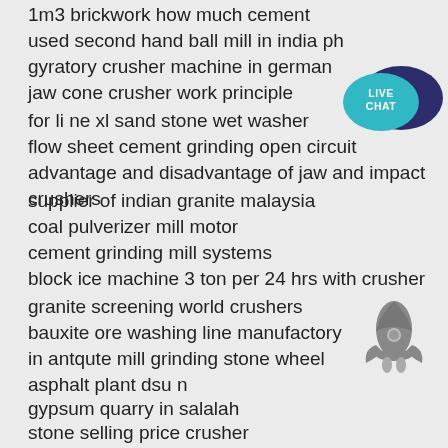1m3 brickwork how much cement
used second hand ball mill in india ph
gyratory crusher machine in german
jaw cone crusher work principle
for li ne xl sand stone wet washer
flow sheet cement grinding open circuit
advantage and disadvantage of jaw and impact crushers
supplier of indian granite malaysia
coal pulverizer mill motor
cement grinding mill systems
block ice machine 3 ton per 24 hrs with crusher
granite screening world crushers
bauxite ore washing line manufactory
in antqute mill grinding stone wheel
asphalt plant dsu n
gypsum quarry in salalah
stone selling price crusher
europe stone crushing equipment
[Figure (illustration): Live chat speech bubble icon in teal/dark blue colors with text LIVE CHAT]
[Figure (illustration): Gray rocket ship icon]